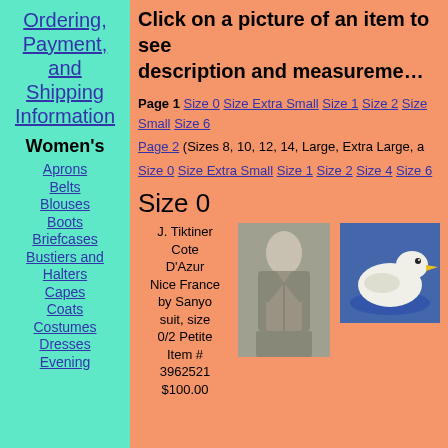Ordering, Payment, and Shipping Information
Click on a picture of an item to see description and measurements
Page 1 Size 0 Size Extra Small Size 1 Size 2 Size Small Size 6
Page 2 (Sizes 8, 10, 12, 14, Large, Extra Large, a
Size 0 Size Extra Small Size 1 Size 2 Size 4 Size 6
Size 0
J. Tiktiner Cote D'Azur Nice France by Sanyo suit, size 0/2 Petite Item # 3962521 $100.00
[Figure (photo): Photo of a woman's suit (jacket and skirt), grey/tweed, displayed on mannequin]
[Figure (photo): Photo of a white duck]
Women's
Aprons
Belts
Blouses
Boots
Briefcases
Bustiers and Halters
Capes
Coats
Costumes
Dresses
Evening